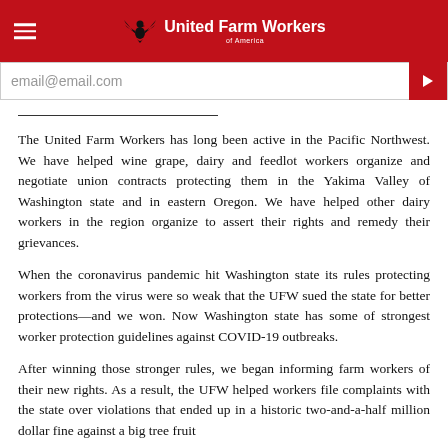United Farm Workers
email@email.com
The United Farm Workers has long been active in the Pacific Northwest. We have helped wine grape, dairy and feedlot workers organize and negotiate union contracts protecting them in the Yakima Valley of Washington state and in eastern Oregon. We have helped other dairy workers in the region organize to assert their rights and remedy their grievances.
When the coronavirus pandemic hit Washington state its rules protecting workers from the virus were so weak that the UFW sued the state for better protections—and we won. Now Washington state has some of strongest worker protection guidelines against COVID-19 outbreaks.
After winning those stronger rules, we began informing farm workers of their new rights. As a result, the UFW helped workers file complaints with the state over violations that ended up in a historic two-and-a-half million dollar fine against a big tree fruit